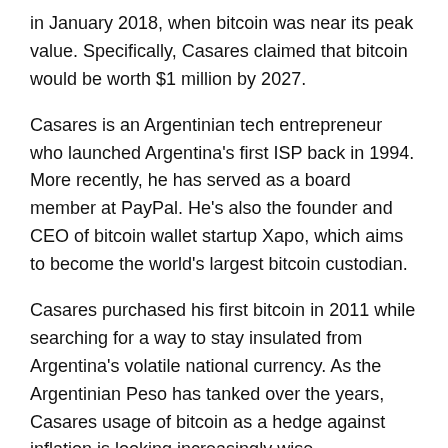in January 2018, when bitcoin was near its peak value. Specifically, Casares claimed that bitcoin would be worth $1 million by 2027.
Casares is an Argentinian tech entrepreneur who launched Argentina's first ISP back in 1994. More recently, he has served as a board member at PayPal. He's also the founder and CEO of bitcoin wallet startup Xapo, which aims to become the world's largest bitcoin custodian.
Casares purchased his first bitcoin in 2011 while searching for a way to stay insulated from Argentina's volatile national currency. As the Argentinian Peso has tanked over the years, Casares usage of bitcoin as a hedge against inflation is looking increasingly wise.
In any case, Casares has publicly stated that he